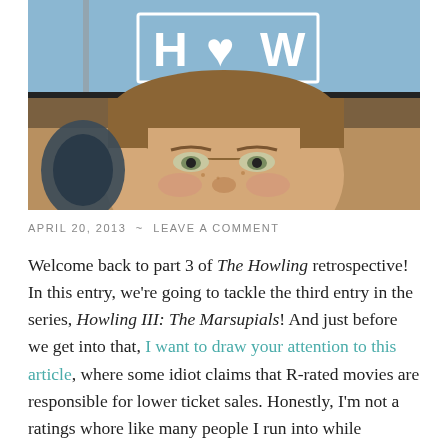[Figure (photo): Two-part movie still image: top portion shows a blue sky with a sign reading 'HOW' with a heart symbol; bottom portion is a close-up of a young man's face with brown hair and freckles.]
APRIL 20, 2013  ~  LEAVE A COMMENT
Welcome back to part 3 of The Howling retrospective! In this entry, we're going to tackle the third entry in the series, Howling III: The Marsupials! And just before we get into that, I want to draw your attention to this article, where some idiot claims that R-rated movies are responsible for lower ticket sales. Honestly, I'm not a ratings whore like many people I run into while